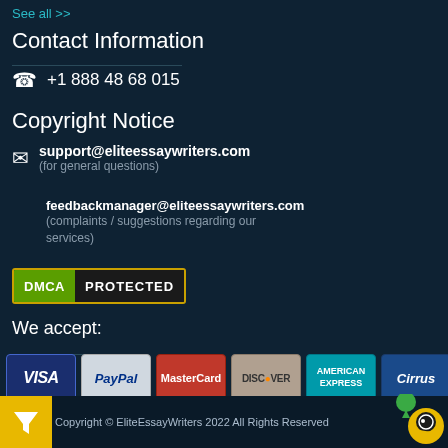See all >>
Contact Information
+1 888 48 68 015
Copyright Notice
support@eliteessaywriters.com (for general questions)
feedbackmanager@eliteessaywriters.com (complaints / suggestions regarding our services)
[Figure (logo): DMCA Protected badge with green DMCA label and black PROTECTED label, bordered in gold]
We accept:
[Figure (logo): Payment method icons: VISA, PayPal, MasterCard, DISCOVER, AMERICAN EXPRESS, Cirrus]
Copyright © EliteEssayWriters 2022 All Rights Reserved